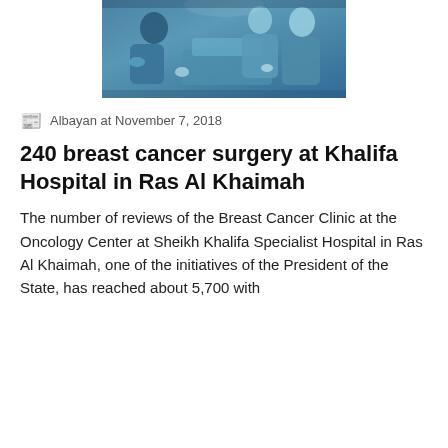[Figure (photo): Medical professionals in blue surgical scrubs and gloves performing a surgical procedure in an operating room.]
Albayan at November 7, 2018
240 breast cancer surgery at Khalifa Hospital in Ras Al Khaimah
The number of reviews of the Breast Cancer Clinic at the Oncology Center at Sheikh Khalifa Specialist Hospital in Ras Al Khaimah, one of the initiatives of the President of the State, has reached about 5,700 with